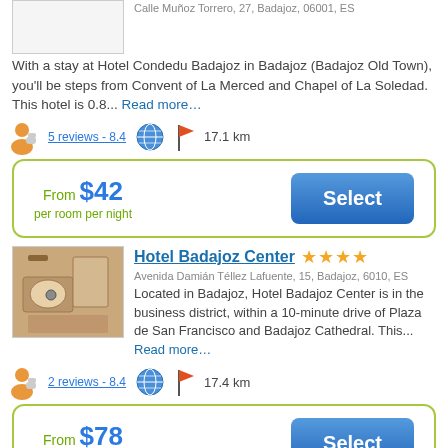Calle Muñoz Torrero, 27, Badajoz, 06001, ES
With a stay at Hotel Condedu Badajoz in Badajoz (Badajoz Old Town), you'll be steps from Convent of La Merced and Chapel of La Soledad. This hotel is 0.8... Read more…
5 reviews - 8.4  17.1 km
From $42 per room per night
Select
Hotel Badajoz Center ★★★★
Avenida Damián Téllez Lafuente, 15, Badajoz, 6010, ES
Located in Badajoz, Hotel Badajoz Center is in the business district, within a 10-minute drive of Plaza de San Francisco and Badajoz Cathedral. This... Read more…
2 reviews - 8.4  17.4 km
From $78 per room per night
Select